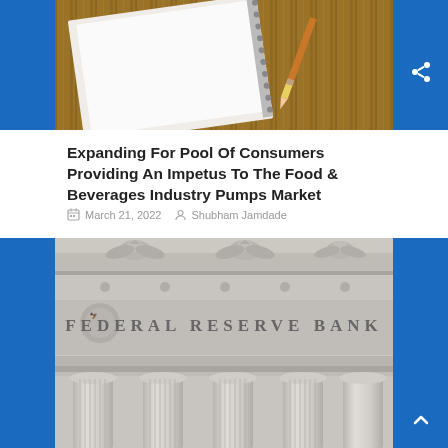[Figure (photo): Overhead photo of an open blank notebook with a pen/pencil on a wooden table background]
Expanding For Pool Of Consumers Providing An Impetus To The Food & Beverages Industry Pumps Market
March 21, 2022   Shubham Jamdade
[Figure (photo): Photo of the Federal Reserve Bank building facade showing ornate stone carvings, eagle sculptures, the text 'FEDERAL RESERVE BANK' carved in stone, and classical Ionic columns at the base]